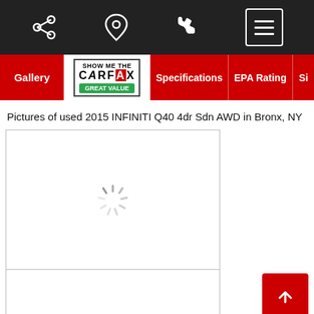[Figure (screenshot): Mobile app top navigation bar with share icon, location pin icon, phone icon, and hamburger menu button on dark background]
[Figure (screenshot): Tab navigation bar with Gallery tab, CARFAX GREAT VALUE badge, Specifications tab, EPA Rating tab, and partially visible Si tab]
Pictures of used 2015 INFINITI Q40 4dr Sdn AWD in Bronx, NY
[Figure (photo): Loading spinner (sunburst/radial loading indicator) centered in white image placeholder box]
[Figure (photo): Second image thumbnail placeholder below main image]